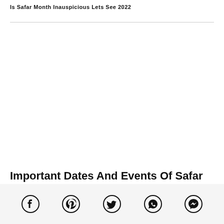Is Safar Month Inauspicious Lets See 2022
[Figure (other): Blank white image area placeholder for article image]
Important Dates And Events Of Safar Islamic Month
Social share icons: Facebook, Pinterest, Twitter, WhatsApp, Messenger